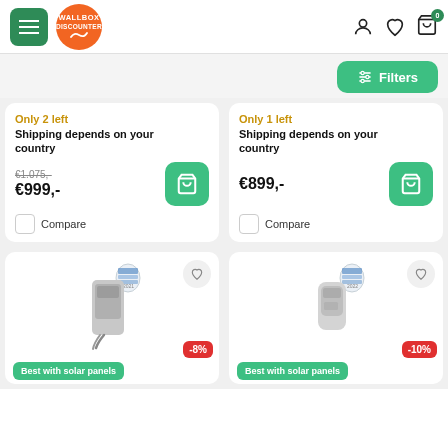Wallbox Discounter — navigation header with menu, logo, user, wishlist, cart (0)
Filters
Only 2 left
Shipping depends on your country
€1.075,- (original)
€999,-
Compare
Only 1 left
Shipping depends on your country
€899,-
Compare
[Figure (photo): Wallbox EV charger device image with -8% discount badge and 'Best with solar panels' tag]
[Figure (photo): Wallbox EV charger device image with -10% discount badge and 'Best with solar panels' tag]